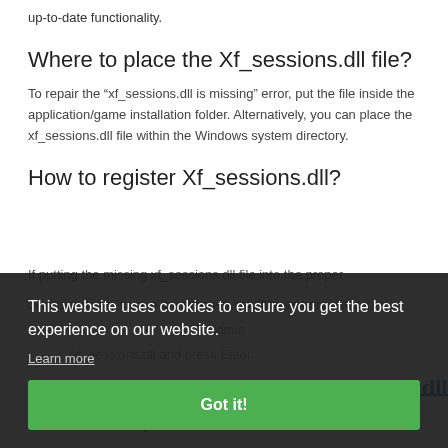up-to-date functionality.
Where to place the Xf_sessions.dll file?
To repair the “xf_sessions.dll is missing” error, put the file inside the application/game installation folder. Alternatively, you can place the xf_sessions.dll file within the Windows system directory.
How to register Xf_sessions.dll?
If putting the missing xf_sessions.dll file into the proper directory doesn’t solve the problem, you’ll have to register it. … 2 … admin …… xf_sessions.dll and press Enter.
Method 2. Fix by using the Xf_sessions.dll error automatically.
This website uses cookies to ensure you get the best experience on our website.
Learn more
Got it!